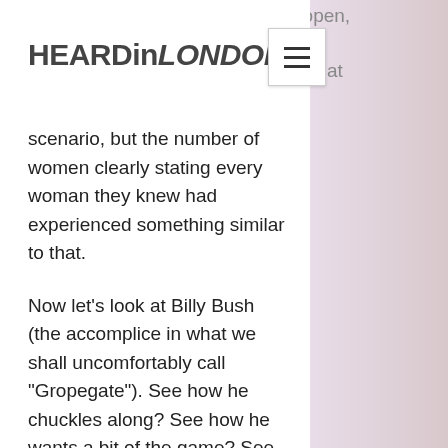HEARDinLONDON
acceptable. When it is out in the open, [menu icon] t the disgust which rang loud for me in that scenario, but the number of women clearly stating every woman they knew had experienced something similar to that.
Now let’s look at Billy Bush (the accomplice in what we shall uncomfortably call “Gropegate”). See how he chuckles along? See how he wants a bit of the game? See how he puffs his chest out and plays predator too? Well it’s the Billy Bushes of this world we need to be addressing. That little sexist comment in the workplace which was “just a bit of fun” so no one gets pulled up on it? The